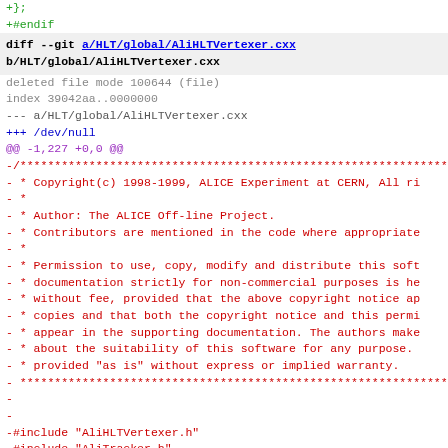+};
+#endif
diff --git a/HLT/global/AliHLTVertexer.cxx b/HLT/global/AliHLTVertexer.cxx
deleted file mode 100644 (file)
index 39042aa..0000000
--- a/HLT/global/AliHLTVertexer.cxx
+++ /dev/null
@@ -1,227 +0,0 @@
-/******************************************************************
- * Copyright(c) 1998-1999, ALICE Experiment at CERN, All ri
- *
- * Author: The ALICE Off-line Project.
- * Contributors are mentioned in the code where appropriate
- *
- * Permission to use, copy, modify and distribute this soft
- * documentation strictly for non-commercial purposes is he
- * without fee, provided that the above copyright notice ap
- * copies and that both the copyright notice and this permi
- * appear in the supporting documentation. The authors make
- * about the suitability of this software for any purpose.
- * provided "as is" without express or implied warranty.
- ******************************************************************
-
-
-#include "AliHLTVertexer.h"
-#include "AliTracker.h"
-#include "TMath.h"
-#include "AliESDtrack.h"
-#include "AliESDv0.h"
-#include "AliESDVertex.h"